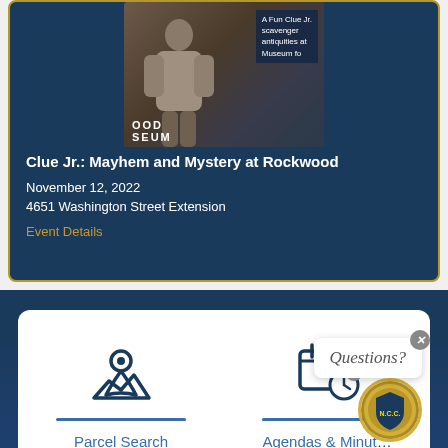[Figure (photo): Photo of a person in a detective-style trench coat at the Rockwood Museum, with overlay text about a Clue Jr. scavenger hunt event]
Clue Jr.: Mayhem and Mystery at Rockwood
November 12, 2022
4651 Washington Street Extension
Event Details
[Figure (illustration): Location pin / parcel search icon in dark blue]
Parcel Search
[Figure (illustration): Calendar/clock icon in dark blue for Agendas & Minutes]
Agendas & Minutes
Questions?